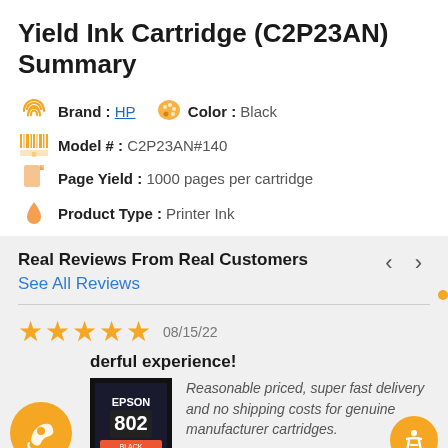Yield Ink Cartridge (C2P23AN) Summary
Brand : HP   Color : Black
Model # : C2P23AN#140
Page Yield : 1000 pages per cartridge
Product Type : Printer Ink
Real Reviews From Real Customers
See All Reviews
08/15/22
derful experience!
Reasonable priced, super fast delivery and no shipping costs for genuine manufacturer cartridges.